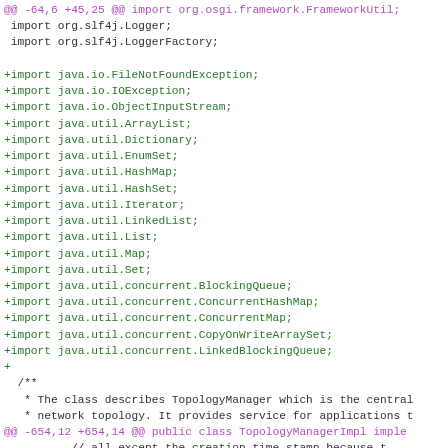@@ -64,6 +45,25 @@ import org.osgi.framework.FrameworkUtil;
 import org.slf4j.Logger;
 import org.slf4j.LoggerFactory;

+import java.io.FileNotFoundException;
+import java.io.IOException;
+import java.io.ObjectInputStream;
+import java.util.ArrayList;
+import java.util.Dictionary;
+import java.util.EnumSet;
+import java.util.HashMap;
+import java.util.HashSet;
+import java.util.Iterator;
+import java.util.LinkedList;
+import java.util.List;
+import java.util.Map;
+import java.util.Set;
+import java.util.concurrent.BlockingQueue;
+import java.util.concurrent.ConcurrentHashMap;
+import java.util.concurrent.ConcurrentMap;
+import java.util.concurrent.CopyOnWriteArraySet;
+import java.util.concurrent.LinkedBlockingQueue;
+
  /**
   * The class describes TopologyManager which is the central
   * network topology. It provides service for applications t
@@ -654,12 +654,14 @@ public class TopologyManagerImpl imple
          // all except the creation time stamp because t
          // be set only when the edge is created
          TimeStamp timeStamp = null;
-         for (Property prop : oldProps) {
          if (prop.instanceof TimeStamp) {